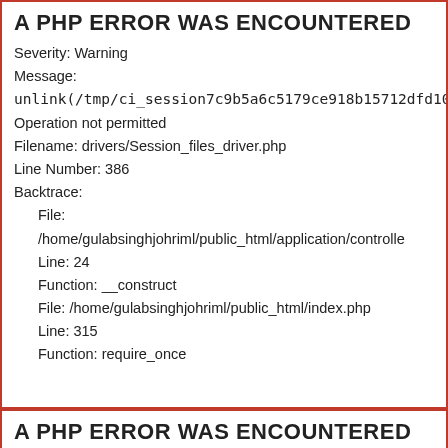A PHP ERROR WAS ENCOUNTERED
Severity: Warning
Message:
unlink(/tmp/ci_session7c9b5a6c5179ce918b15712dfd10eaa3
Operation not permitted
Filename: drivers/Session_files_driver.php
Line Number: 386
Backtrace:
  File:
  /home/gulabsinghjohriml/public_html/application/controlle
  Line: 24
  Function: __construct
  File: /home/gulabsinghjohriml/public_html/index.php
  Line: 315
  Function: require_once
A PHP ERROR WAS ENCOUNTERED
Severity: Warning
Message:
unlink(/tmp/ci_session...